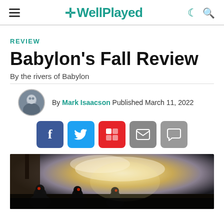WellPlayed
REVIEW
Babylon's Fall Review
By the rivers of Babylon
By Mark Isaacson Published March 11, 2022
[Figure (screenshot): Social share buttons: Facebook, Twitter, Flipboard, Email, Comment]
[Figure (photo): Hero image of Babylon's Fall game showing armored warriors silhouetted against a bright sky with dramatic lighting]